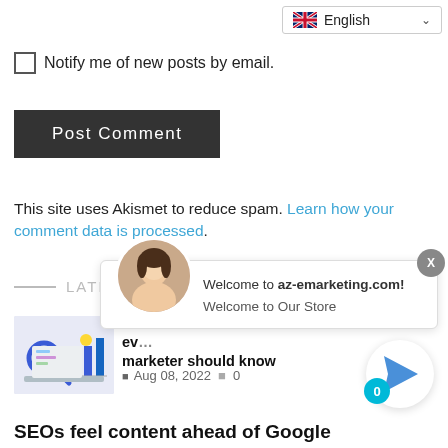[Figure (screenshot): Language selector dropdown showing English with UK flag]
Notify me of new posts by email.
Post Comment
This site uses Akismet to reduce spam. Learn how your comment data is processed.
[Figure (screenshot): Chat popup overlay with avatar, welcome message to az-emarketing.com and Welcome to Our Store]
LATEST POSTS
[Figure (illustration): Thumbnail image for SEO webinar post]
Webinar: SEO metrics and KPIs every marketer should know
Aug 08, 2022   0
[Figure (illustration): Send/paper plane button with badge showing 0]
SEOs feel content ahead of Google